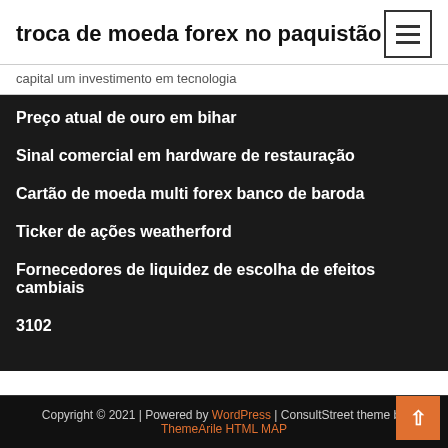troca de moeda forex no paquistão
capital um investimento em tecnologia
Preço atual de ouro em bihar
Sinal comercial em hardware de restauração
Cartão de moeda multi forex banco de baroda
Ticker de ações weatherford
Fornecedores de liquidez de escolha de efeitos cambiais
3102
Copyright © 2021 | Powered by WordPress | ConsultStreet theme by ThemeArile HTML MAP